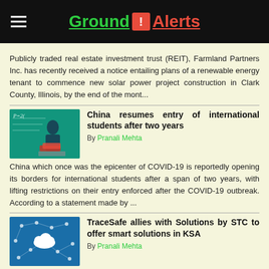Ground ! Alerts
Publicly traded real estate investment trust (REIT), Farmland Partners Inc. has recently received a notice entailing plans of a renewable energy tenant to commence new solar power project construction in Clark County, Illinois, by the end of the mont...
[Figure (photo): Student at chalkboard with math formulas, teal background]
China resumes entry of international students after two years
By Pranali Mehta
China which once was the epicenter of COVID-19 is reportedly opening its borders for international students after a span of two years, with lifting restrictions on their entry enforced after the COVID-19 outbreak. According to a statement made by ...
[Figure (illustration): Cloud computing network diagram, blue background with cloud icon and connected nodes]
TraceSafe allies with Solutions by STC to offer smart solutions in KSA
By Pranali Mehta